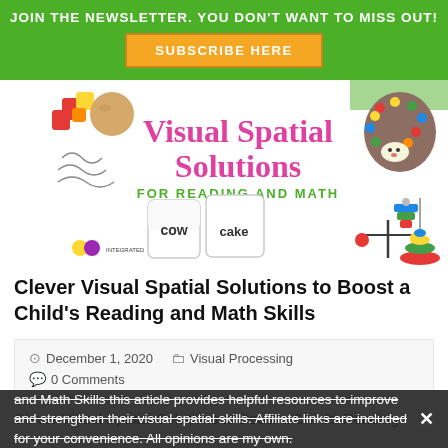JOIN THE NEWSLETTER. YOU DON'T WANT TO MISS OUT!
SUBSCRIBE HERE
[Figure (illustration): Visual Spatial Solutions for Reading and Math promotional banner image showing colorful educational toys, word cards (cow, cake), shape sorter, abacus beads hedgehog, and balance toy.]
Clever Visual Spatial Solutions to Boost a Child's Reading and Math Skills
December 1, 2020   Visual Processing   0 Comments
Clever Visual Spatial Solutions to Boost a Child's Reading and Math Skills this article provides helpful resources to improve and strengthen their visual spatial skills. Affiliate links are included for your convenience. All opinions are my own.